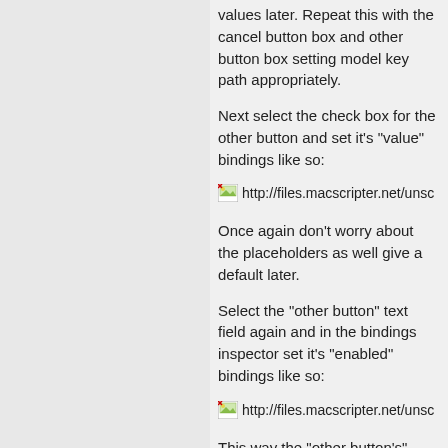values later. Repeat this with the cancel button box and other button box setting model key path appropriately.
Next select the check box for the other button and set it's "value" bindings like so:
[Figure (screenshot): Broken image icon with URL http://files.macscripter.net/unsc...]
Once again don't worry about the placeholders as well give a default later.
Select the "other button" text field again and in the bindings inspector set it's "enabled" bindings like so:
[Figure (screenshot): Broken image icon with URL http://files.macscripter.net/unsc...]
This way the "other button's"